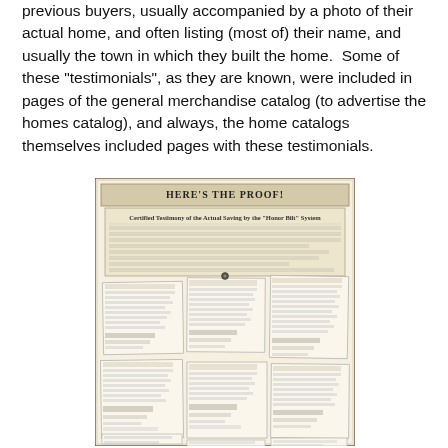previous buyers, usually accompanied by a photo of their actual home, and often listing (most of) their name, and usually the town in which they built the home.  Some of these "testimonials", as they are known, were included in pages of the general merchandise catalog (to advertise the homes catalog), and always, the home catalogs themselves included pages with these testimonials.
[Figure (photo): A scan of an old catalog page titled 'HERE'S THE PROOF!' showing 'Certified Testimony of the Actual Saving by the "Honor Bilt" System' with multiple overlapping letters/testimonials arranged on the page.]